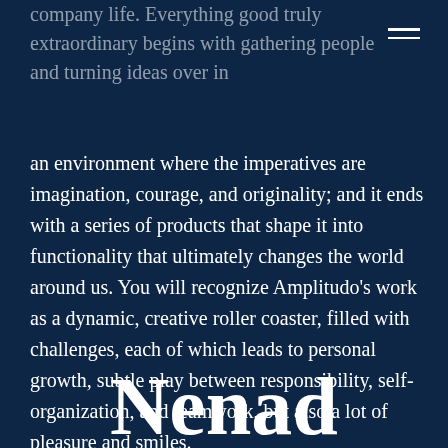company life. Everything good truly extraordinary begins with gathering people and turning ideas over in an environment where the imperatives are imagination, courage, and originality; and it ends with a series of products that shape it into functionality that ultimately changes the world around us. You will recognize Amplitudo's work as a dynamic, creative roller coaster, filled with challenges, each of which leads to personal growth, subtle play between responsibility, self-organization, and teamwork, but also a lot of pleasure and smiles.
Nenad